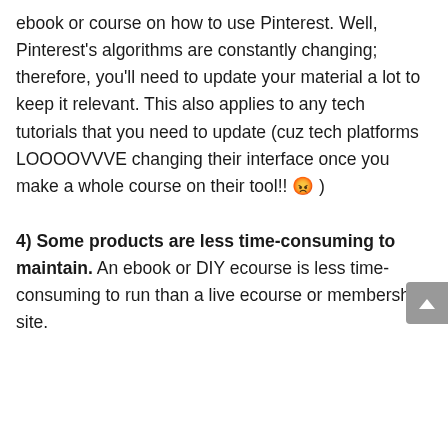ebook or course on how to use Pinterest. Well, Pinterest's algorithms are constantly changing; therefore, you'll need to update your material a lot to keep it relevant. This also applies to any tech tutorials that you need to update (cuz tech platforms LOOOOVVVE changing their interface once you make a whole course on their tool!! 🙄 )
4) Some products are less time-consuming to maintain. An ebook or DIY ecourse is less time-consuming to run than a live ecourse or membership site.